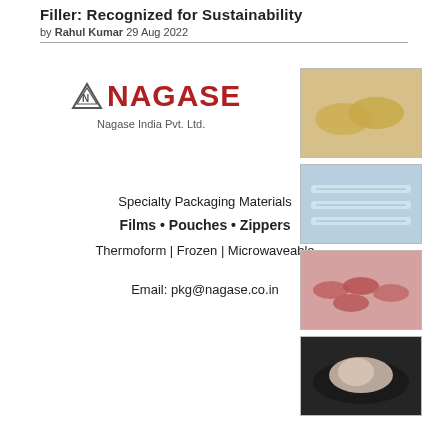Filler: Recognized for Sustainability
by Rahul Kumar 29 Aug 2022
[Figure (logo): Nagase India Pvt. Ltd. logo with triangle symbol and red/black NAGASE text]
Specialty Packaging Materials
Films • Pouches • Zippers
Thermoform | Frozen | Microwaveable

Email: pkg@nagase.co.in
[Figure (photo): Vacuum-packed corn cobs in clear packaging]
[Figure (photo): Medical syringes in transparent blister packaging]
[Figure (photo): Sausages/hot dogs in meat tray packaging]
[Figure (photo): Raw chicken piece in black tray with clear film packaging]